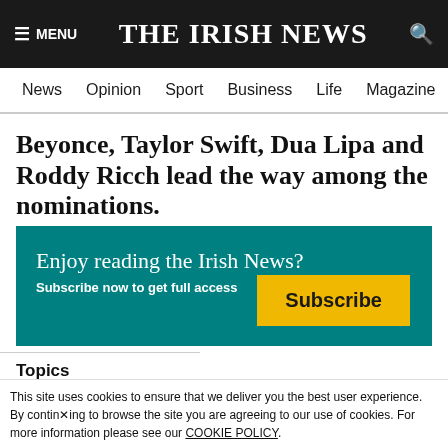THE IRISH NEWS
News Opinion Sport Business Life Magazine Arts
Beyonce, Taylor Swift, Dua Lipa and Roddy Ricch lead the way among the nominations.
Enjoy reading the Irish News? Subscribe now to get full access
Subscribe
Topics
Showbiz
Grammys
Carpet
UK
This site uses cookies to ensure that we deliver you the best user experience. By continuing to browse the site you are agreeing to our use of cookies. For more information please see our COOKIE POLICY.